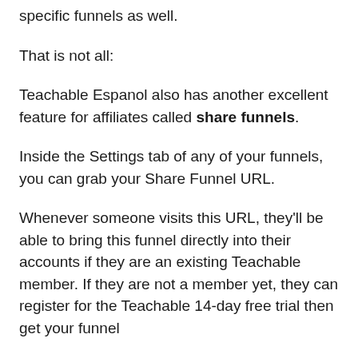specific funnels as well.
That is not all:
Teachable Espanol also has another excellent feature for affiliates called share funnels.
Inside the Settings tab of any of your funnels, you can grab your Share Funnel URL.
Whenever someone visits this URL, they'll be able to bring this funnel directly into their accounts if they are an existing Teachable member. If they are not a member yet, they can register for the Teachable 14-day free trial then get your funnel